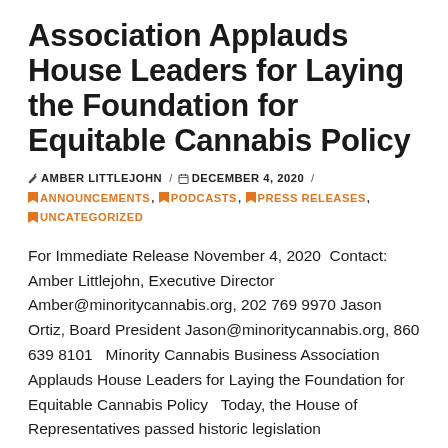Association Applauds House Leaders for Laying the Foundation for Equitable Cannabis Policy
✏ AMBER LITTLEJOHN / 📅 DECEMBER 4, 2020 / 🏷 ANNOUNCEMENTS, 🏷 PODCASTS, 🏷 PRESS RELEASES, 🏷 UNCATEGORIZED
For Immediate Release November 4, 2020 Contact: Amber Littlejohn, Executive Director Amber@minoritycannabis.org, 202 769 9970 Jason Ortiz, Board President Jason@minoritycannabis.org, 860 639 8101  Minority Cannabis Business Association Applauds House Leaders for Laying the Foundation for Equitable Cannabis Policy  Today, the House of Representatives passed historic legislation